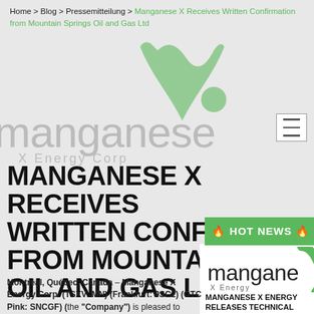Home > Blog > Pressemitteilung > Manganese X Receives Written Confirmation from Mountain Springs Oil and Gas Ltd
MANGANESE X RECEIVES WRITTEN CONFIRMATION FROM MOUNTAIN SPRINGS OIL AND GAS LTD
[Figure (logo): Manganese X Energy Corp logo watermark in background]
[Figure (infographic): HOT NEWS banner in green]
[Figure (logo): Manganese X Energy Corp logo on white background, right side]
Montréal, Québec, Canada – Manganese X Energy Corp. (TSXV: MN) (Frankfurt: 9SC2) (OTC Pink: SNCGF) (the "Company") is pleased to announce that it has received written confirmation from Mountain Springs Oil and Gas Limited (MSOG) that their bid to purchase the anticipated
MANGANESE X ENERGY RELEASES TECHNICAL REPORT OF FINAL PRELIMINARY ECONOMIC ASSESSMENT